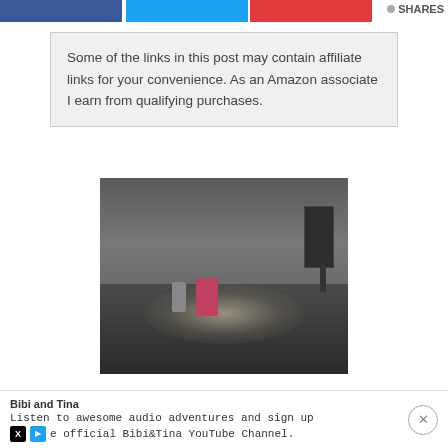SHARES
Some of the links in this post may contain affiliate links for your convenience. As an Amazon associate I earn from qualifying purchases.
[Figure (photo): A woman in a pink top crouching down and reaching out to a small child in a dress, in a large dark empty hall/warehouse with a spotlight on them. A speaker on a stand is visible in the background.]
Bibi and Tina
Listen to awesome audio adventures and sign up e official Bibi&Tina YouTube Channel.